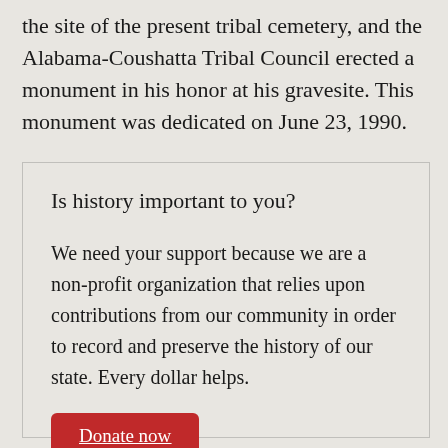the site of the present tribal cemetery, and the Alabama-Coushatta Tribal Council erected a monument in his honor at his gravesite. This monument was dedicated on June 23, 1990.
Is history important to you?
We need your support because we are a non-profit organization that relies upon contributions from our community in order to record and preserve the history of our state. Every dollar helps.
Donate now